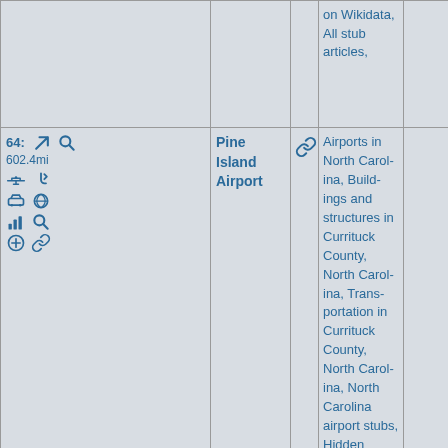|  |  | on Wikidata, All stub articles, |  |
| 64: 602.4mi [icons] | Pine Island Airport | [link icon] | Airports in North Carolina, Buildings and structures in Currituck County, North Carolina, Transportation in Currituck County, North Carolina, North Carolina airport stubs, Hidden categories:, Coordinates on Wikidata, All stub articles, |